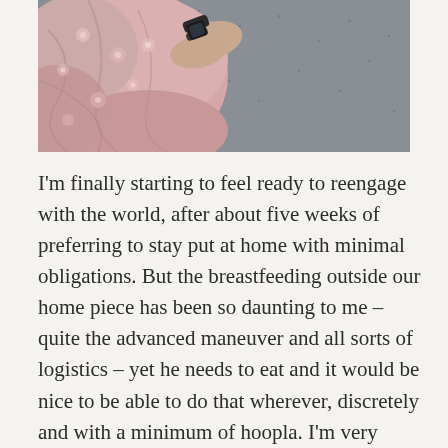[Figure (photo): Overhead photo of a person wearing a floral pink/rose dress and a dark smartwatch, standing on asphalt pavement. The photo is cropped showing mostly the dress fabric and the wrist with the watch.]
I'm finally starting to feel ready to reengage with the world, after about five weeks of preferring to stay put at home with minimal obligations. But the breastfeeding outside our home piece has been so daunting to me – quite the advanced maneuver and all sorts of logistics – yet he needs to eat and it would be nice to be able to do that wherever, discretely and with a minimum of hoopla. I'm very hopeful that the cover will be the perfect thing and make the difference between heading out freely and feeling obligated to stay at or close